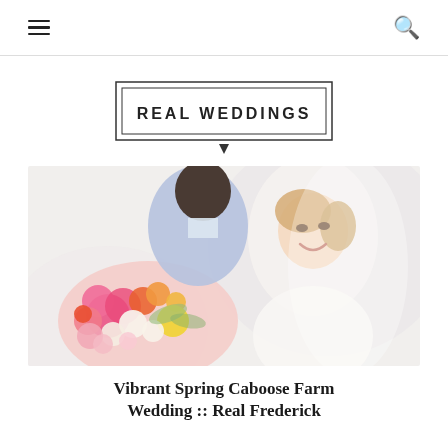[hamburger menu] [search icon]
REAL WEDDINGS
[Figure (photo): A bride and groom in a romantic close-up pose. The groom in a light blue suit is leaning in to kiss the bride on the forehead. The bride in an off-shoulder white dress is smiling. There is a large colorful bouquet with pink, orange, yellow, and white flowers prominently featured.]
Vibrant Spring Caboose Farm Wedding :: Real Frederick